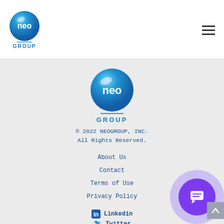[Figure (logo): Neo Group logo in header — blue sphere with 'neo' text and 'GROUP' below]
[Figure (other): Hamburger menu icon (three horizontal lines) in top right of header]
[Figure (logo): Neo Group logo in footer — blue sphere with 'neo' text and 'GROUP' below]
© 2022 NEOGROUP, INC.
All Rights Reserved.
About Us
Contact
Terms of Use
Privacy Policy
Linkedin
Twitter
[Figure (other): Purple chat bubble button in bottom right corner]